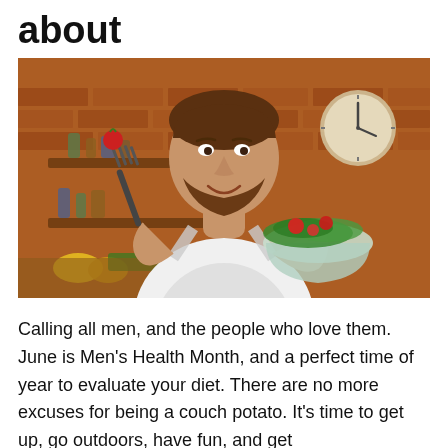about
[Figure (photo): A smiling bearded man holding a bowl of green salad with cherry tomatoes and a fork with a cherry tomato on it, wearing a white t-shirt and apron, standing in a kitchen with brick walls, wooden shelves, bottles, and a clock in the background.]
Calling all men, and the people who love them. June is Men's Health Month, and a perfect time of year to evaluate your diet. There are no more excuses for being a couch potato. It's time to get up, go outdoors, have fun, and get